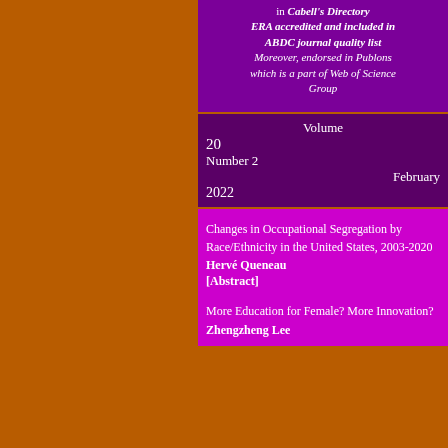in Cabell's Directory ERA accredited and included in ABDC journal quality list Moreover, endorsed in Publons which is a part of Web of Science Group
Volume 20 Number 2 February 2022
Changes in Occupational Segregation by Race/Ethnicity in the United States, 2003-2020
Hervé Queneau [Abstract]
More Education for Female? More Innovation?
Zhengzheng Lee